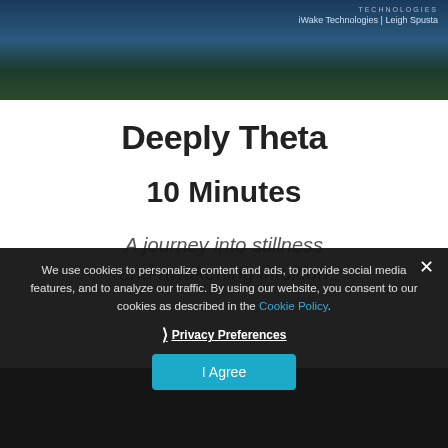[Figure (photo): Blue-green nature/forest/water landscape banner at top of page with company branding overlay]
TECHNOLOGIES
iWake Technologies | Leigh Spusta
Deeply Theta
10 Minutes
A journey into stillness
and awakening intuition
We use cookies to personalize content and ads, to provide social media features, and to analyze our traffic. By using our website, you consent to our cookies as described in the Cookie Policy.
❯ Privacy Preferences
I Agree